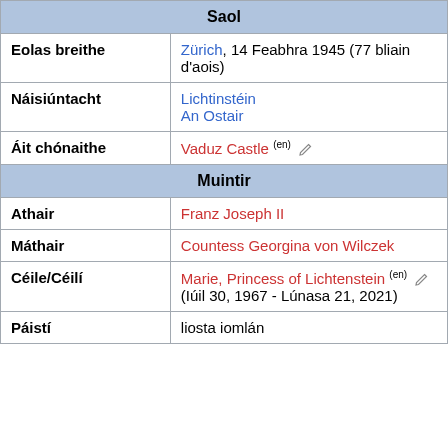| Saol |
| --- |
| Eolas breithe | Zürich, 14 Feabhra 1945 (77 bliain d'aois) |
| Náisiúntacht | Lichtinstéin
An Ostair |
| Áit chónaithe | Vaduz Castle (en) |
| Muintir |
| --- |
| Athair | Franz Joseph II |
| Máthair | Countess Georgina von Wilczek |
| Céile/Céilí | Marie, Princess of Lichtenstein (en) (Iúil 30, 1967 - Lúnasa 21, 2021) |
| Páistí | liosta iomlán |